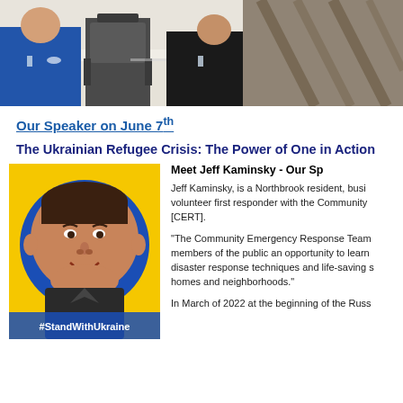[Figure (photo): People seated at a banquet/conference table, side view, indoor event setting]
[Figure (photo): Partial view of another scene, cropped at right edge]
Our Speaker on June 7th
The Ukrainian Refugee Crisis: The Power of One in Action
[Figure (photo): Headshot of Jeff Kaminsky on yellow background with blue circle border and #StandWithUkraine label]
Meet Jeff Kaminsky - Our Sp
Jeff Kaminsky, is a Northbrook resident, busi volunteer first responder with the Community [CERT].
“The Community Emergency Response Team members of the public an opportunity to learn disaster response techniques and life-saving s homes and neighborhoods.”
In March of 2022 at the beginning of the Russ